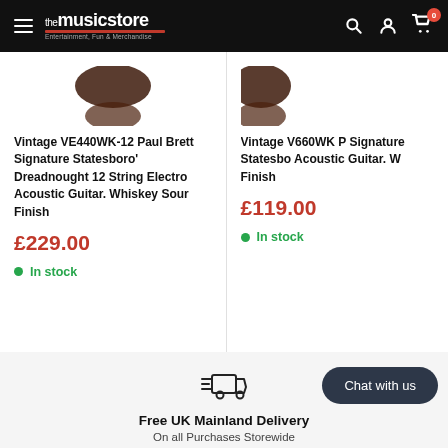The Music Store — navigation bar
Vintage VE440WK-12 Paul Brett Signature Statesboro' Dreadnought 12 String Electro Acoustic Guitar. Whiskey Sour Finish
£229.00
In stock
Vintage V660WK P Signature Statesbo Acoustic Guitar. W Finish
£119.00
In stock
[Figure (logo): Fast delivery truck icon]
Free UK Mainland Delivery
On all Purchases Storewide